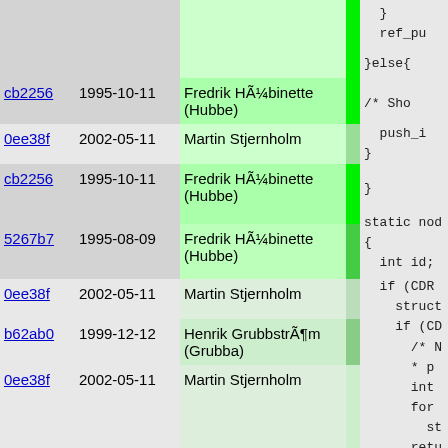| commit | date | author |  | code |
| --- | --- | --- | --- | --- |
|  |  |  |  | }
  ref_pu |
| cb2256 | 1995-10-11 | Fredrik HÃ¼binette (Hubbe) |  | }else{ |
| 0ee38f | 2002-05-11 | Martin Stjernholm |  | /* Sho |
| cb2256 | 1995-10-11 | Fredrik HÃ¼binette (Hubbe) |  | push_i
  } |
| 5267b7 | 1995-08-09 | Fredrik HÃ¼binette (Hubbe) |  | } |
| 0ee38f | 2002-05-11 | Martin Stjernholm |  | static nod |
| b62ab0 | 1999-12-12 | Henrik GrubbstrÃ¶m (Grubba) |  | { |
| 0ee38f | 2002-05-11 | Martin Stjernholm |  | int id;

  if (CDR
    struct
    if (CD
      /* N
       * p
      int
      for
        st
      retu
    }
  else {
    int
#ifdef PIK |